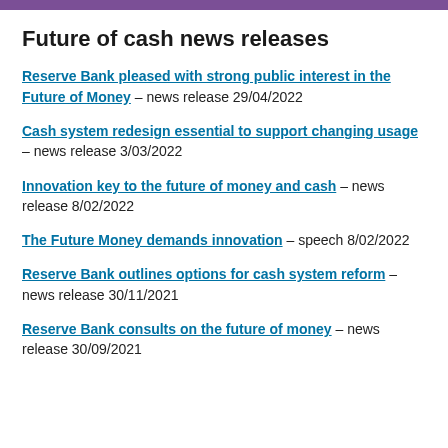Future of cash news releases
Reserve Bank pleased with strong public interest in the Future of Money – news release 29/04/2022
Cash system redesign essential to support changing usage – news release 3/03/2022
Innovation key to the future of money and cash – news release 8/02/2022
The Future Money demands innovation – speech 8/02/2022
Reserve Bank outlines options for cash system reform – news release 30/11/2021
Reserve Bank consults on the future of money – news release 30/09/2021